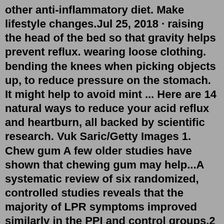other anti-inflammatory diet. Make lifestyle changes.Jul 25, 2018 · raising the head of the bed so that gravity helps prevent reflux. wearing loose clothing. bending the knees when picking objects up, to reduce pressure on the stomach. It might help to avoid mint ... Here are 14 natural ways to reduce your acid reflux and heartburn, all backed by scientific research. Vuk Saric/Getty Images 1. Chew gum A few older studies have shown that chewing gum may help...A systematic review of six randomized, controlled studies reveals that the majority of LPR symptoms improved similarly in the PPI and control groups.2 This data demonstrates that empiric PPI treatment of suspected LPR is not superior to treatment by placebo. 3. Laryngopharyngeal pH fails to normalize for most individuals following PPI therapy.Once refluxed, pepsin can stay in your airways for days or weeks. What You Can Do About Pepsin It is crucial to avoid drops in acidity in the throat and airways. Sep 18, 2019 · The best way to treat LPR naturally is the same as an acid diet...